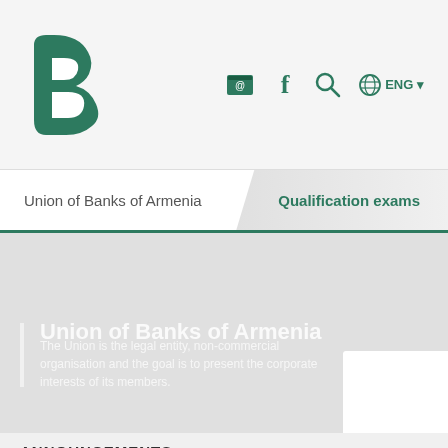Union of Banks of Armenia — ENG navigation header with logo, email, facebook, search, language icons
Union of Banks of Armenia
Qualification exams
Union of Banks of Armenia
The Union is the legal entity, non-commercial organisation and the goal is to present the corporate interests of its members.
Announcements